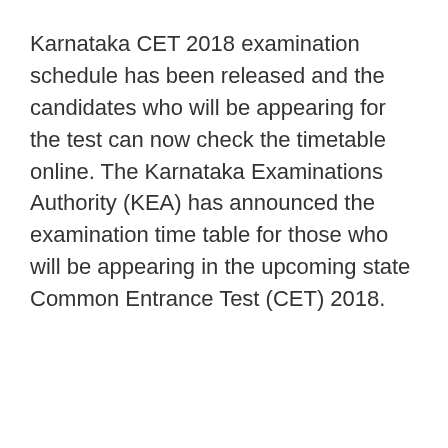Karnataka CET 2018 examination schedule has been released and the candidates who will be appearing for the test can now check the timetable online. The Karnataka Examinations Authority (KEA) has announced the examination time table for those who will be appearing in the upcoming state Common Entrance Test (CET) 2018.